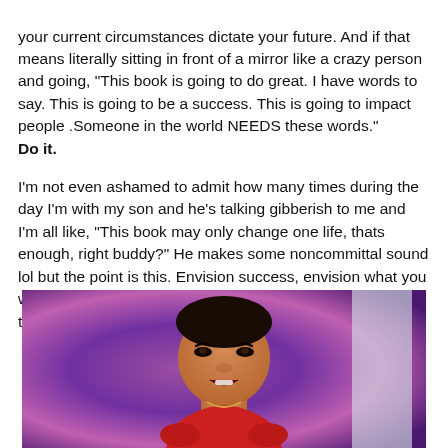your current circumstances dictate your future. And if that means literally sitting in front of a mirror like a crazy person and going, “This book is going to do great. I have words to say. This is going to be a success. This is going to impact people .Someone in the world NEEDS these words.” Do it.
I’m not even ashamed to admit how many times during the day I’m with my son and he’s talking gibberish to me and I’m all like, “This book may only change one life, thats enough, right buddy?” He makes some noncommittal sound lol but the point is this. Envision success, envision what you want as an author, envision the way you want your readers to see you and do that!
[Figure (photo): A Black woman with short dark hair wearing a red top, speaking or being interviewed, with a purple/violet blurred background and a light-colored pillar visible to the right.]